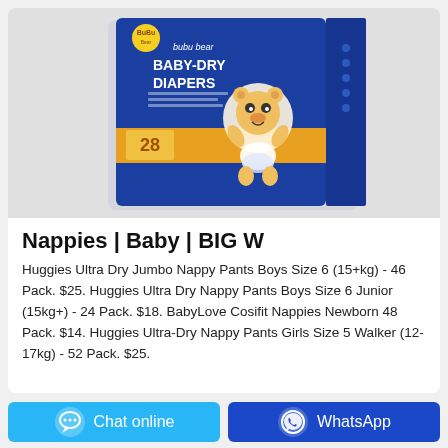[Figure (photo): Product photo of Bubu Bear Baby-Dry Diapers 28 pack in a blue box with a cartoon bear character]
Nappies | Baby | BIG W
Huggies Ultra Dry Jumbo Nappy Pants Boys Size 6 (15+kg) - 46 Pack. $25. Huggies Ultra Dry Nappy Pants Boys Size 6 Junior (15kg+) - 24 Pack. $18. BabyLove Cosifit Nappies Newborn 48 Pack. $14. Huggies Ultra-Dry Nappy Pants Girls Size 5 Walker (12-17kg) - 52 Pack. $25.